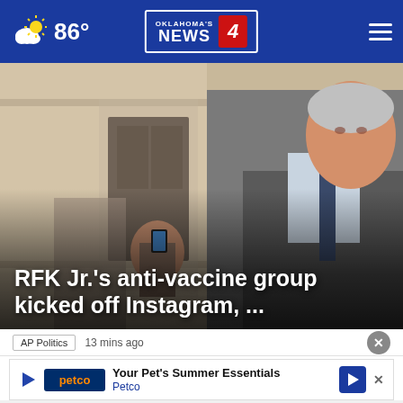86° Oklahoma's News 4
[Figure (photo): Man in suit speaking outdoors, woman taking photo with phone in background, building facade visible]
RFK Jr.'s anti-vaccine group kicked off Instagram, ...
AP Politics  13 mins ago
[Figure (infographic): Petco ad banner: Your Pet's Summer Essentials, Petco]
Instagram ... Defense ... his anti-vaccine group today